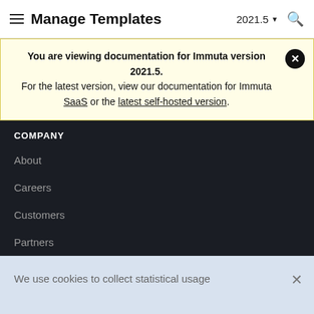Manage Templates  2021.5
You are viewing documentation for Immuta version 2021.5. For the latest version, view our documentation for Immuta SaaS or the latest self-hosted version.
COMPANY
About
Careers
Customers
Partners
We use cookies to collect statistical usage information about our website and its visitors. Please read our Privacy Policy to learn more.